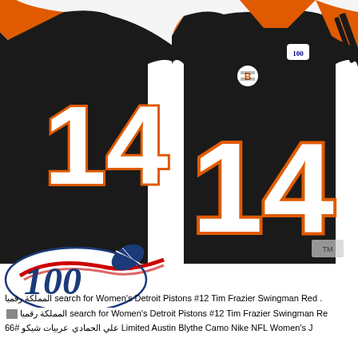[Figure (photo): Cincinnati Bengals NFL football jersey #14 in black with orange and white accents, shown front and back. Jersey features the NFL 100th season patch. Large '14' number visible on front and partial back view.]
المملكة رقميا search for Women's Detroit Pistons #12 Tim Frazier Swingman Red .
المملكة رقميا search for Women's Detroit Pistons #12 Tim Frazier Swingman Re...
علي الحمادي عربيات شيكو #66 Limited Austin Blythe Camo Nike NFL Women's J...